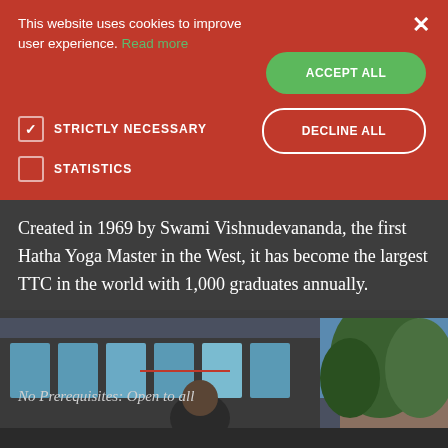[Figure (screenshot): Cookie consent banner overlay on a yoga teacher training website. Red background banner with 'This website uses cookies to improve user experience. Read more' text, ACCEPT ALL green button, DECLINE ALL outlined button, STRICTLY NECESSARY checked checkbox, STATISTICS unchecked checkbox, and X close button.]
Created in 1969 by Swami Vishnudevananda, the first Hatha Yoga Master in the West, it has become the largest TTC in the world with 1,000 graduates annually.
No Prerequisites: Open to all
[Figure (photo): Photo of a person outdoors near a building with large windows and plants, blue sky visible.]